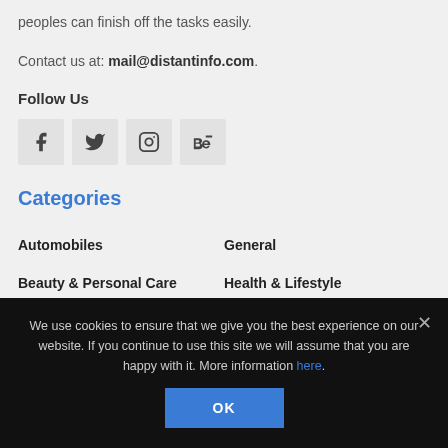peoples can finish off the tasks easily.
Contact us at: mail@distantinfo.com.
Follow Us
[Figure (other): Social media icons: Facebook, Twitter, Instagram, Behance]
Categories
Automobiles
General
Beauty & Personal Care
Health & Lifestyle
We use cookies to ensure that we give you the best experience on our website. If you continue to use this site we will assume that you are happy with it. More information here.